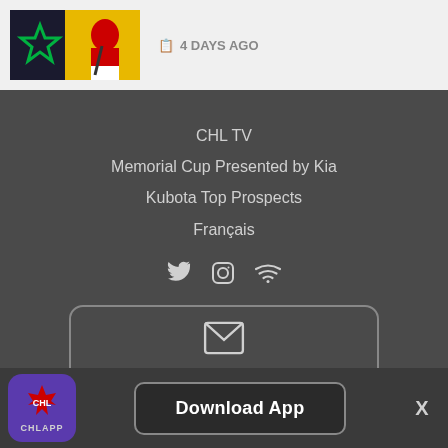[Figure (screenshot): Thumbnail image of a hockey player in dark jersey with Dallas Stars star logo overlay]
4 DAYS AGO
CHL TV
Memorial Cup Presented by Kia
Kubota Top Prospects
Français
[Figure (infographic): Social media icons: Twitter bird, Instagram camera, WiFi/RSS icon]
[Figure (infographic): Newsletter subscription box with envelope icon, SUBSCRIBE TO OUR NEWSLETTER text, and CHL logo]
[Figure (logo): CHL App icon - purple rounded square with CHL logo and CHLAPP label]
Download App
X